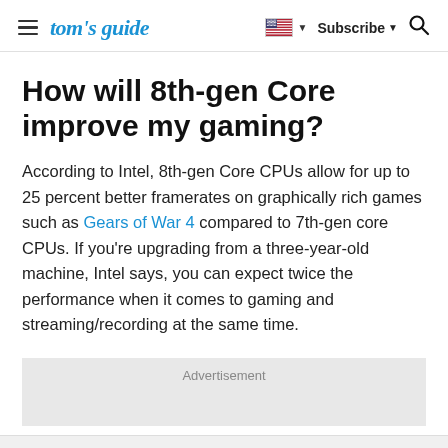tom's guide — Subscribe
How will 8th-gen Core improve my gaming?
According to Intel, 8th-gen Core CPUs allow for up to 25 percent better framerates on graphically rich games such as Gears of War 4 compared to 7th-gen core CPUs. If you're upgrading from a three-year-old machine, Intel says, you can expect twice the performance when it comes to gaming and streaming/recording at the same time.
Advertisement